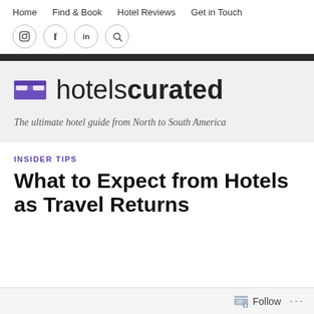Home   Find & Book   Hotel Reviews   Get in Touch
[Figure (logo): Social media icons row: Instagram, Facebook, LinkedIn, Search]
[Figure (logo): hotelscurated logo with purple hotel bed icon and text 'hotelscurated']
The ultimate hotel guide from North to South America
INSIDER TIPS
What to Expect from Hotels as Travel Returns